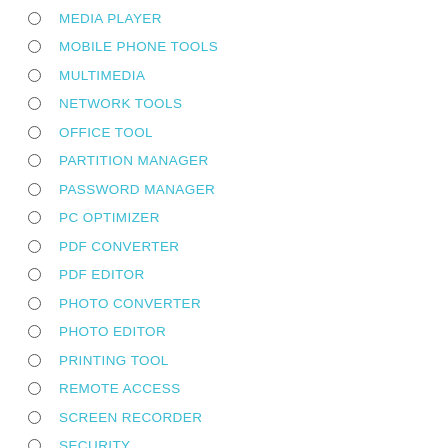MEDIA PLAYER
MOBILE PHONE TOOLS
MULTIMEDIA
NETWORK TOOLS
OFFICE TOOL
PARTITION MANAGER
PASSWORD MANAGER
PC OPTIMIZER
PDF CONVERTER
PDF EDITOR
PHOTO CONVERTER
PHOTO EDITOR
PRINTING TOOL
REMOTE ACCESS
SCREEN RECORDER
SECURITY